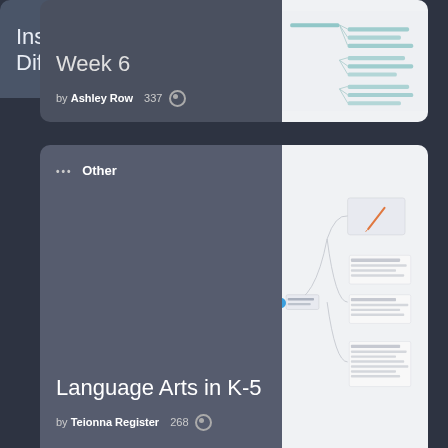[Figure (screenshot): Card showing partial title 'Week 6', by Ashley Row, 337 views, with a mind map thumbnail preview]
[Figure (screenshot): Card labeled 'Other' category, titled 'Language Arts in K-5', by Teionna Register, 268 views, with a mind map thumbnail]
[Figure (screenshot): Card titled 'Instruction Differentiation' (partially visible), with a cyan/blue mind map thumbnail]